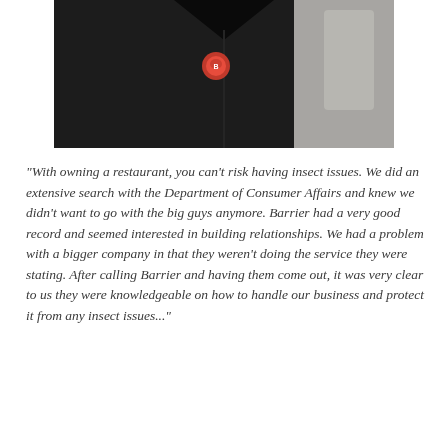[Figure (photo): Close-up photo of a person wearing a black jacket or uniform with a red badge/logo on the chest area. Background is slightly blurred with light tones.]
“With owning a restaurant, you can’t risk having insect issues. We did an extensive search with the Department of Consumer Affairs and knew we didn’t want to go with the big guys anymore. Barrier had a very good record and seemed interested in building relationships. We had a problem with a bigger company in that they weren’t doing the service they were stating. After calling Barrier and having them come out, it was very clear to us they were knowledgeable on how to handle our business and protect it from any insect issues...”